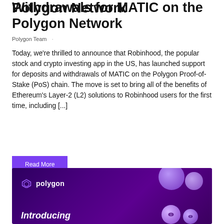Withdrawals for MATIC on the Polygon Network
Polygon Team ·
Today, we're thrilled to announce that Robinhood, the popular stock and crypto investing app in the US, has launched support for deposits and withdrawals of MATIC on the Polygon Proof-of-Stake (PoS) chain. The move is set to bring all of the benefits of Ethereum's Layer-2 (L2) solutions to Robinhood users for the first time, including [...]
Read More
[Figure (illustration): Dark purple/violet background image with Polygon logo (infinity-style symbol) and the word 'polygon' in white, decorative 3D coin/sphere objects, and the word 'Introducing' in white italic text at the bottom left.]